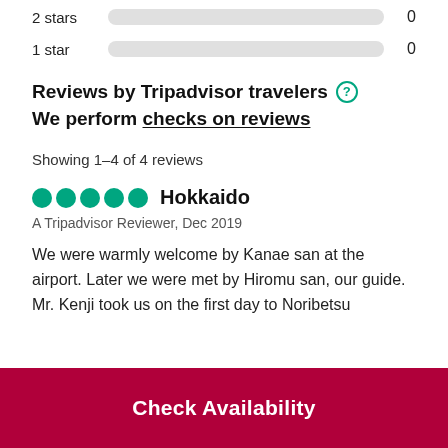2 stars  0
1 star  0
Reviews by Tripadvisor travelers ⓘ We perform checks on reviews
Showing 1-4 of 4 reviews
●●●●●  Hokkaido
A Tripadvisor Reviewer, Dec 2019
We were warmly welcome by Kanae san at the airport. Later we were met by Hiromu san, our guide. Mr. Kenji took us on the first day to Noribetsu
Check Availability